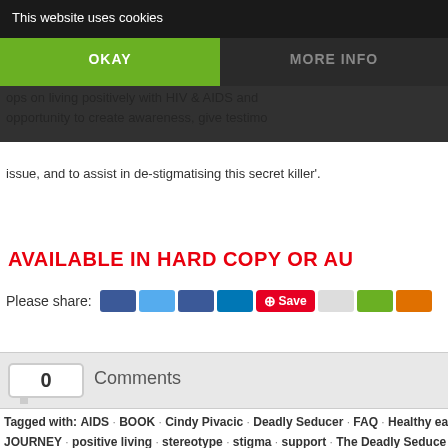This website uses cookies
OKAY
MORE INFO
ops on living positively with HIV & AIDS and opportunity to create awareness, give testimon issue, and to assist in de-stigmatising this secret killer'.
AVAILABLE IN HARD COPY OR AU
Please share:
[Figure (screenshot): Social share buttons row including Pinterest Save button]
0 Comments
Tagged with: AIDS · BOOK · Cindy Pivacic · Deadly Seducer · FAQ · Healthy eati JOURNEY · positive living · stereotype · stigma · support · The Deadly Seduce
The Deadly Seducer – Pre-Order y